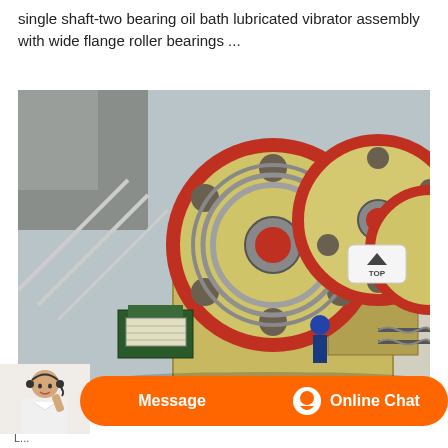single shaft-two bearing oil bath lubricated vibrator assembly with wide flange roller bearings ...
[Figure (photo): Industrial jaw crusher machine photographed from above at an angle, showing two large yellow/cream colored flywheels with red rims and circular cutout holes, mounted on a yellow steel frame body. A person in blue hard hat stands near the machine. Motor assembly visible at lower left. Industrial outdoor setting.]
Message   Online Chat